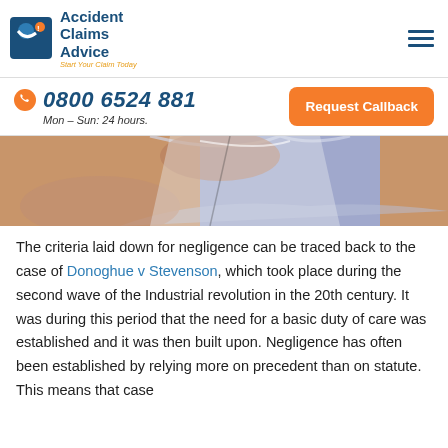Accident Claims Advice — Start Your Claim Today
08006524881 Mon – Sun: 24 hours.
[Figure (photo): Close-up photo of hands holding or flipping through paper documents/banknotes, visible at top portion of page]
The criteria laid down for negligence can be traced back to the case of Donoghue v Stevenson, which took place during the second wave of the Industrial revolution in the 20th century. It was during this period that the need for a basic duty of care was established and it was then built upon. Negligence has often been established by relying more on precedent than on statute. This means that case